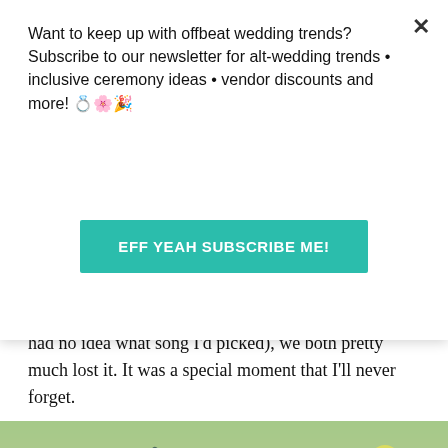Want to keep up with offbeat wedding trends?Subscribe to our newsletter for alt-wedding trends • inclusive ceremony ideas • vendor discounts and more! 💍🌸🎉
[Figure (other): Teal/green subscribe button reading EFF YEAH SUBSCRIBE ME!]
had no idea what song I'd picked), we both pretty much lost it. It was a special moment that I'll never forget.
[Figure (photo): Outdoor wedding reception scene with women dancing near a fountain; yellow balloons visible in background; green trees.]
[Figure (photo): Partially visible photo of wedding scene, lighter tones, partially cut off at bottom of page.]